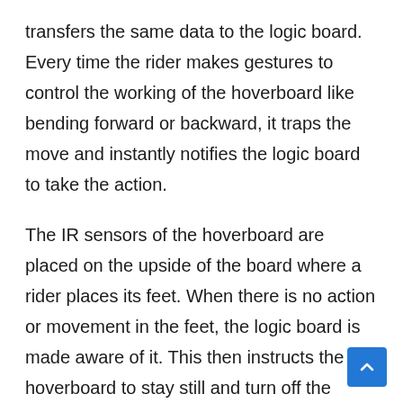transfers the same data to the logic board. Every time the rider makes gestures to control the working of the hoverboard like bending forward or backward, it traps the move and instantly notifies the logic board to take the action.
The IR sensors of the hoverboard are placed on the upside of the board where a rider places its feet. When there is no action or movement in the feet, the logic board is made aware of it. This then instructs the hoverboard to stay still and turn off the motor as there is no instruction from the rider. The IR sensors are the ones that help